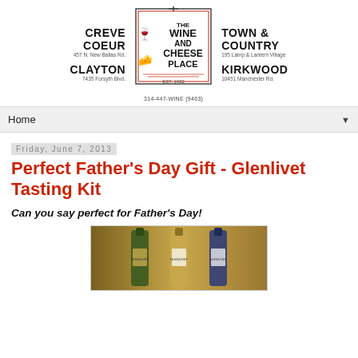[Figure (logo): The Wine and Cheese Place logo with store locations: Creve Coeur (457 N. New Ballas Rd.), Clayton (7435 Forsyth Blvd.), Town & Country (195 Lamp & Lantern Village), Kirkwood (10451 Manchester Rd.). EST. 1982. Phone: 314-447-WINE (9463).]
Home
Friday, June 7, 2013
Perfect Father's Day Gift - Glenlivet Tasting Kit
Can you say perfect for Father's Day!
[Figure (photo): Three bottles of Glenlivet whisky lined up, showing their labels and caps against a warm background.]